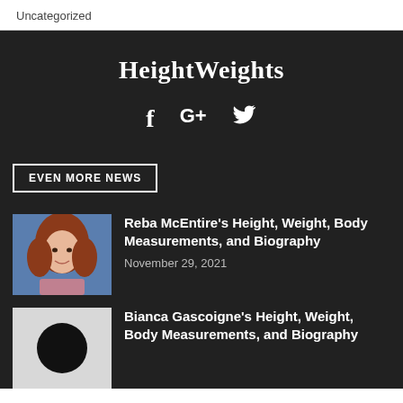Uncategorized
HeightWeights
[Figure (infographic): Social media icons: Facebook (f), Google+ (G+), Twitter (bird icon)]
EVEN MORE NEWS
[Figure (photo): Photo of Reba McEntire with red curly hair, wearing pink top, blue background]
Reba McEntire's Height, Weight, Body Measurements, and Biography
November 29, 2021
[Figure (photo): Placeholder image with black circle on light grey background]
Bianca Gascoigne's Height, Weight, Body Measurements, and Biography